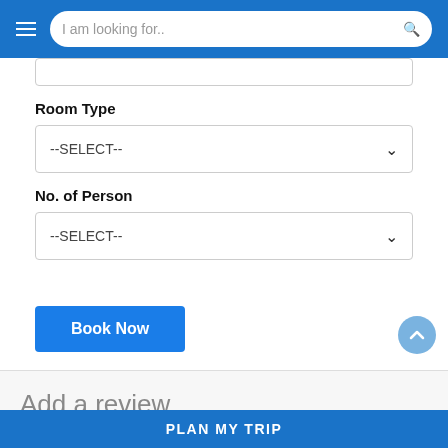I am looking for..
Room Type
--SELECT--
No. of Person
--SELECT--
Book Now
Add a review
Your email address will not be published. Required fields are marked *
PLAN MY TRIP